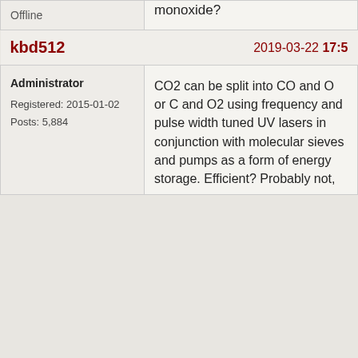monoxide?
Offline
kbd512
2019-03-22 17:5
Administrator
Registered: 2015-01-02
Posts: 5,884
CO2 can be split into CO and O or C and O2 using frequency and pulse width tuned UV lasers in conjunction with molecular sieves and pumps as a form of energy storage. Efficient? Probably not,